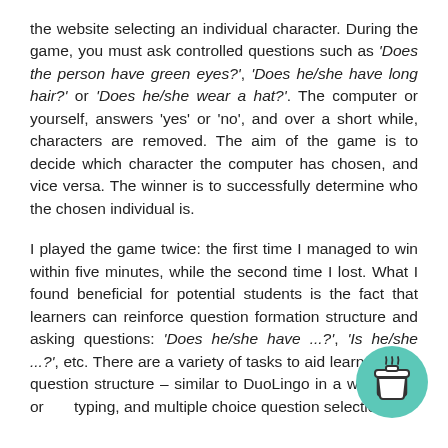the website selecting an individual character. During the game, you must ask controlled questions such as 'Does the person have green eyes?', 'Does he/she have long hair?' or 'Does he/she wear a hat?'. The computer or yourself, answers 'yes' or 'no', and over a short while, characters are removed. The aim of the game is to decide which character the computer has chosen, and vice versa. The winner is to successfully determine who the chosen individual is.
I played the game twice: the first time I managed to win within five minutes, while the second time I lost. What I found beneficial for potential students is the fact that learners can reinforce question formation structure and asking questions: 'Does he/she have ...?', 'Is he/she ...?', etc. There are a variety of tasks to aid learners with question structure – similar to DuoLingo in a way: word order, typing, and multiple choice question selection.
[Figure (illustration): Teal/green circular badge icon with a coffee cup (takeaway cup with lid) in the center, positioned in the bottom-right corner of the page.]